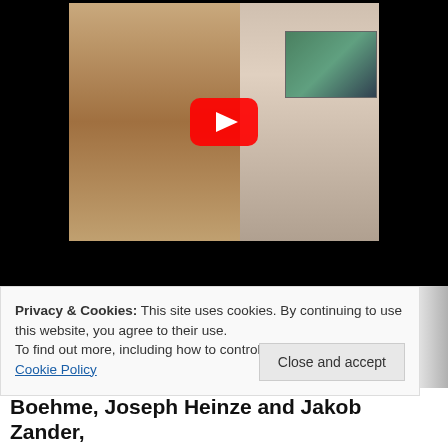[Figure (screenshot): YouTube video thumbnail showing two people: one on left wearing a beige trench coat, one on right in a white tank top. A small picture-in-picture inset appears in the upper right. A red YouTube play button is centered on the thumbnail. The video player has a black background/letterbox area.]
Privacy & Cookies: This site uses cookies. By continuing to use this website, you agree to their use.
To find out more, including how to control cookies, see here: Cookie Policy
Close and accept
Boehme, Joseph Heinze and Jakob Zander,